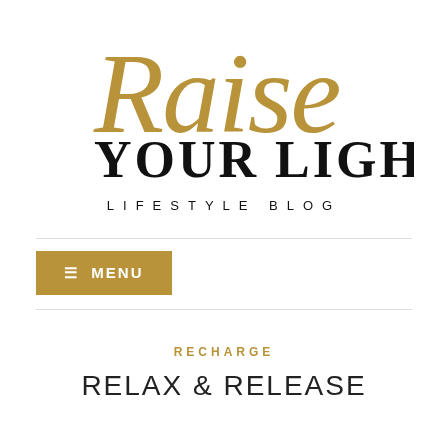[Figure (logo): Raise Your Light Lifestyle Blog logo with script 'Raise' in gold and 'YOUR LIGHT' in bold black with 'LIFESTYLE BLOG' underneath in spaced caps]
≡ MENU
RECHARGE
RELAX & RELEASE